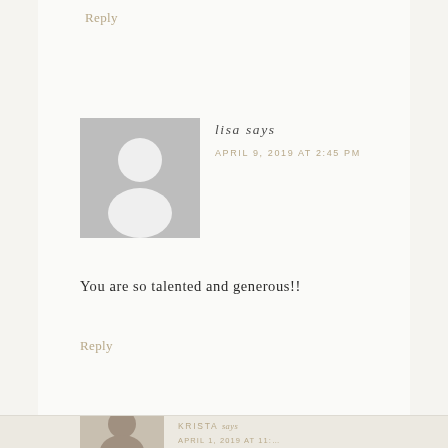Reply
[Figure (illustration): Default user avatar placeholder — grey square with white silhouette of a person (head and shoulders)]
lisa says
APRIL 9, 2019 AT 2:45 PM
You are so talented and generous!!
Reply
[Figure (photo): Partial photo of commenter Krista, cropped at bottom of page]
KRISTA says
APRIL 1, 2019 AT 11:…